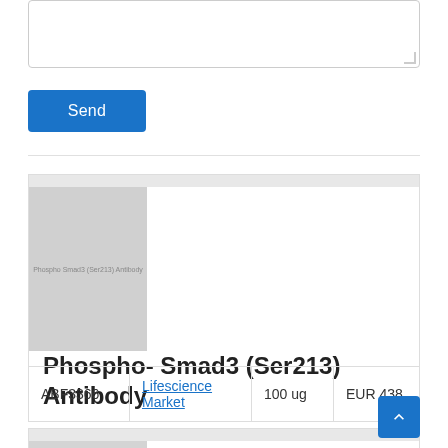[Figure (screenshot): Textarea input box with resize handle at bottom-right corner]
Send
[Figure (other): Horizontal divider line]
[Figure (other): Product image placeholder showing 'Phospho Smad3 (Ser213) Antibody' label in gray]
Phospho- Smad3 (Ser213) Antibody
| ABF3366 | Lifescience Market | 100 ug | EUR 438 |
| --- | --- | --- | --- |